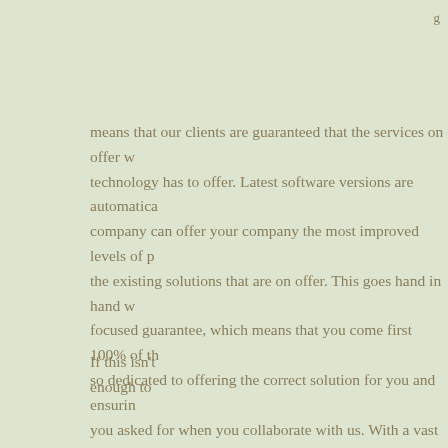means that our clients are guaranteed that the services on offer will utilise the best technology has to offer. Latest software versions are automatically updated so the company can offer your company the most improved levels of performance, improving the existing solutions that are on offer. This goes hand in hand with our client focused guarantee, which means that you come first 100% of the time. We are so dedicated to offering the correct solution for you and ensuring you get exactly what you asked for when you collaborate with us. With a vast knowledge of businesses and organisations who each have their own specific needs, there is nothing we have not seen before which means that there is already a solution out there waiting for it. Do not reinvent the wheel yourself with inferior technology – invest in Managed services.
If this isn't enough to